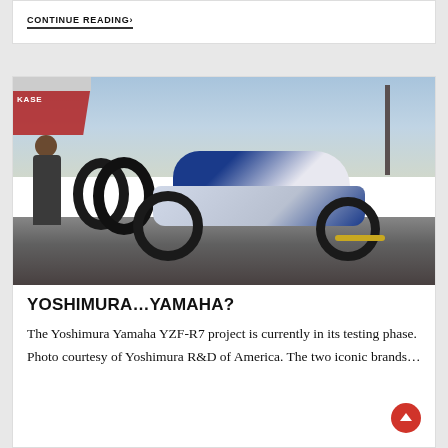CONTINUE READING ›
[Figure (photo): A Yoshimura Yamaha YZF-R7 motorcycle on a racetrack pit area, with a person and tire stack visible on the left under a tent canopy marked KASE, and a utility pole in the background.]
YOSHIMURA…YAMAHA?
The Yoshimura Yamaha YZF-R7 project is currently in its testing phase. Photo courtesy of Yoshimura R&D of America. The two iconic brands…